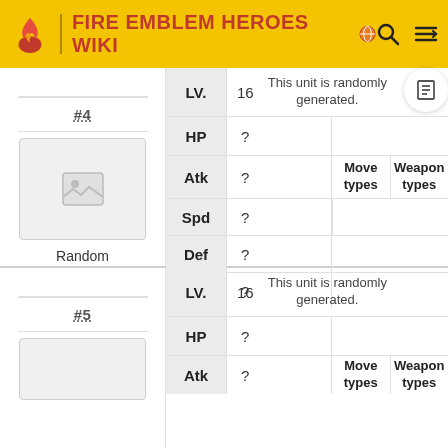FIRE EMBLEM HEROES WIKI
|  | LV. | 16 | This unit is randomly generated. |
| --- | --- | --- | --- |
| #4 | HP | ? |  |
|  | Atk | ? | Move types | Weapon types |
| Random | Spd | ? |  |
|  | Def | ? |  |
|  | Res | ? |  |
|  | LV. | 16 | This unit is randomly generated. |
| --- | --- | --- | --- |
| #5 | HP | ? |  |
|  | Atk | ? | Move types | Weapon types |